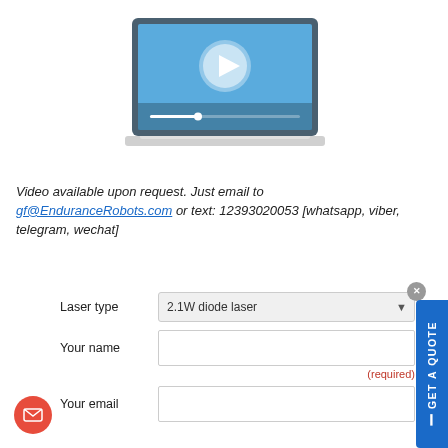[Figure (illustration): Laptop screen showing a video player with a blue background, a white play button circle in the center, and a progress bar at the bottom. The laptop is shown in a flat design style.]
Video available upon request. Just email to gf@EnduranceRobots.com or text: 12393020053 [whatsapp, viber, telegram, wechat]
| Laser type | 2.1W diode laser |
| Your name |  |
| Your email |  |